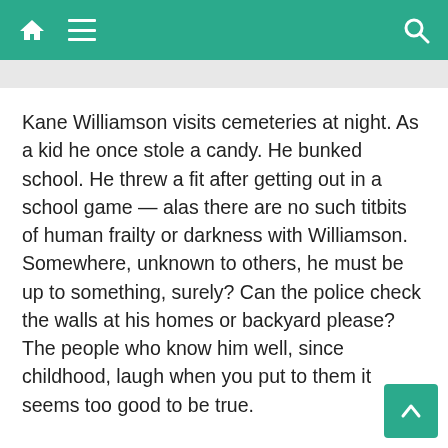Navigation bar with home, menu, and search icons
Kane Williamson visits cemeteries at night. As a kid he once stole a candy. He bunked school. He threw a fit after getting out in a school game — alas there are no such titbits of human frailty or darkness with Williamson. Somewhere, unknown to others, he must be up to something, surely? Can the police check the walls at his homes or backyard please? The people who know him well, since childhood, laugh when you put to them it seems too good to be true.